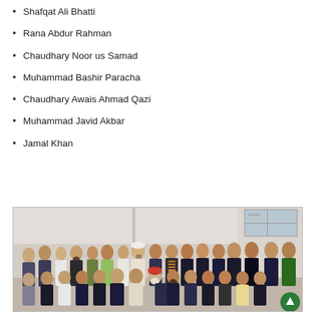Shafqat Ali Bhatti
Rana Abdur Rahman
Chaudhary Noor us Samad
Muhammad Bashir Paracha
Chaudhary Awais Ahmad Qazi
Muhammad Javid Akbar
Jamal Khan
[Figure (photo): Group photo of approximately 25-30 men, arranged in two rows (standing and seated), in an indoor room setting. Most are in formal attire including suits and jackets. One person is wearing a white turban/cap and another is wearing an orange-striped scarf.]